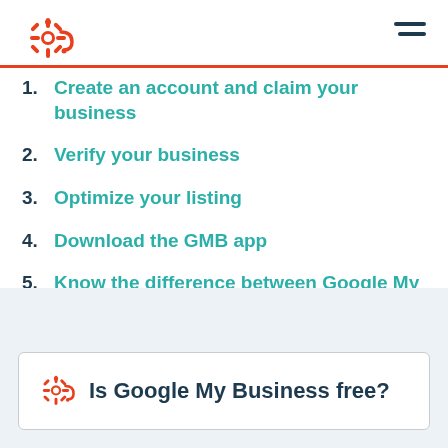HubSpot logo and navigation menu
1. Create an account and claim your business
2. Verify your business
3. Optimize your listing
4. Download the GMB app
5. Know the difference between Google My Business, Google Places, and Google+
Is Google My Business free?